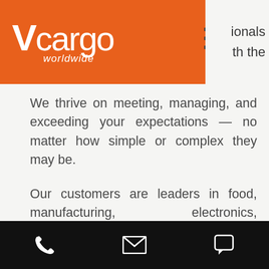[Figure (logo): Vcargo worldwide logo on orange header bar with hamburger menu icon]
ionals
th the
We thrive on meeting, managing, and exceeding your expectations — no matter how simple or complex they may be.
Our customers are leaders in food, manufacturing, electronics, pharmaceuticals, promotions and advertising industries. They all have a common advantage: the ability to concentrate on their core businesses, knowing that their logistics requirements are consistently implemented by Vcargo Worldwide. And with our
Phone | Email | Chat icons